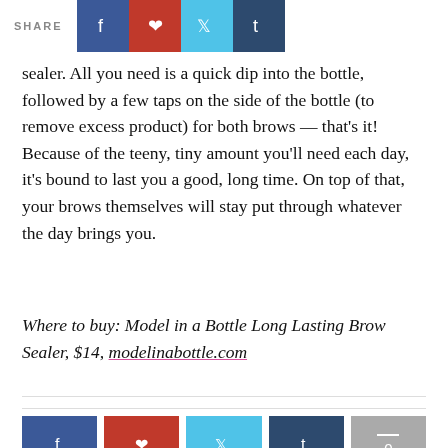SHARE
sealer. All you need is a quick dip into the bottle, followed by a few taps on the side of the bottle (to remove excess product) for both brows — that's it! Because of the teeny, tiny amount you'll need each day, it's bound to last you a good, long time. On top of that, your brows themselves will stay put through whatever the day brings you.
Where to buy: Model in a Bottle Long Lasting Brow Sealer, $14, modelinabottle.com
TAGS: BOLD EYEBROWS , EYEBROW GEL , THE ONE THING